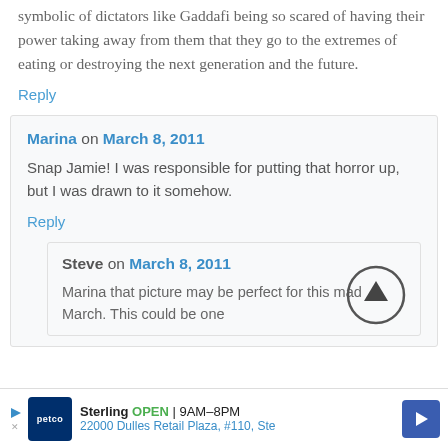ate his children. I just thought it was very symbolic of dictators like Gaddafi being so scared of having their power taking away from them that they go to the extremes of eating or destroying the next generation and the future.
Reply
Marina on March 8, 2011
Snap Jamie! I was responsible for putting that horror up, but I was drawn to it somehow.
Reply
Steve on March 8, 2011
Marina that picture may be perfect for this mad March. This could be one
Sterling OPEN | 9AM–8PM
22000 Dulles Retail Plaza, #110, Ste